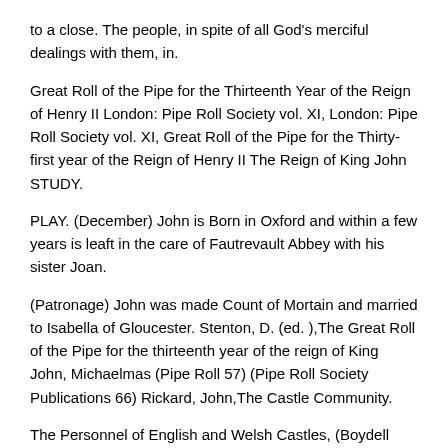to a close. The people, in spite of all God's merciful dealings with them, in.
Great Roll of the Pipe for the Thirteenth Year of the Reign of Henry II London: Pipe Roll Society vol. XI, London: Pipe Roll Society vol. XI, Great Roll of the Pipe for the Thirty-first year of the Reign of Henry II The Reign of King John STUDY.
PLAY. (December) John is Born in Oxford and within a few years is leaft in the care of Fautrevault Abbey with his sister Joan.
(Patronage) John was made Count of Mortain and married to Isabella of Gloucester. Stenton, D. (ed. ),The Great Roll of the Pipe for the thirteenth year of the reign of King John, Michaelmas (Pipe Roll 57) (Pipe Roll Society Publications 66) Rickard, John,The Castle Community.
The Personnel of English and Welsh Castles, (Boydell Press) (lists sources for ) p. Remove. Great Roll of the Pipe for the First Year of the Reign of King Richard the First [Pipe Roll Society] (), pp. Add.
Remove. Great Roll of the Pipe for the Fifth Year of the Reign of King